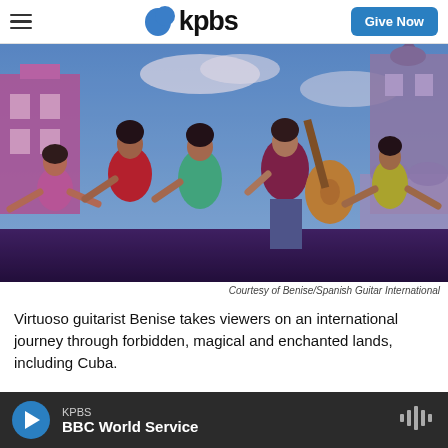kpbs | Give Now
[Figure (photo): Performers dancing on stage with colorful Latin-themed backdrop including Cuban colonial architecture. A guitarist in a maroon shirt plays acoustic guitar surrounded by female dancers in vibrant costumes.]
Courtesy of Benise/Spanish Guitar International
Virtuoso guitarist Benise takes viewers on an international journey through forbidden, magical and enchanted lands, including Cuba.
KPBS BBC World Service